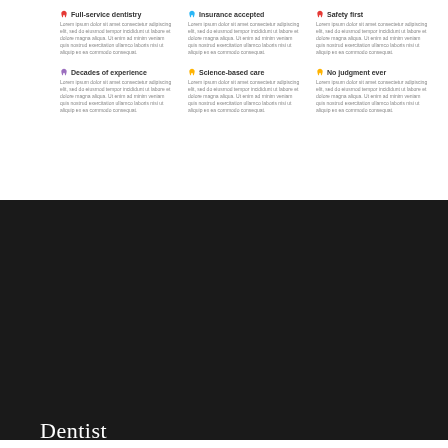Full-service dentistry — Lorem ipsum dolor sit amet consectetur adipiscing elit, sed do eiusmod tempor incididunt ut labore et dolore magna aliqua. Ut enim ad minim veniam.
Insurance accepted — Lorem ipsum dolor sit amet consectetur adipiscing elit, sed do eiusmod tempor incididunt ut labore et dolore magna aliqua. Ut enim ad minim veniam.
Safety first — Lorem ipsum dolor sit amet consectetur adipiscing elit, sed do eiusmod tempor incididunt ut labore et dolore magna aliqua. Ut enim ad minim veniam.
Decades of experience — Lorem ipsum dolor sit amet consectetur adipiscing elit, sed do eiusmod tempor incididunt ut labore et dolore magna aliqua. Ut enim ad minim veniam.
Science-based care — Lorem ipsum dolor sit amet consectetur adipiscing elit, sed do eiusmod tempor incididunt ut labore et dolore magna aliqua. Ut enim ad minim veniam.
No judgment ever — Lorem ipsum dolor sit amet consectetur adipiscing elit, sed do eiusmod tempor incididunt ut labore et dolore magna aliqua. Ut enim ad minim veniam.
Dentist
[Figure (screenshot): Website screenshot showing a wedding inspiration page with dark left panel displaying 'Your wedding inspiration' text and a button, alongside a large photo of a bride with ornate headpiece. Navigation bar at top with logo and circular buttons. White scroll-to-top button at bottom right.]